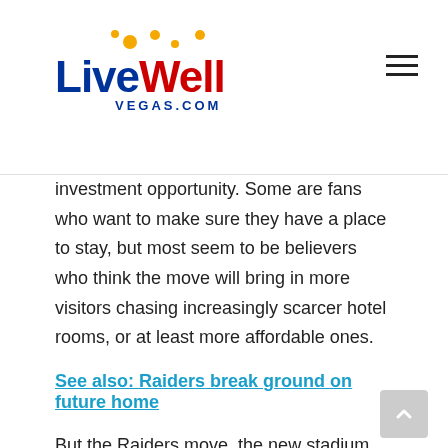LiveWell VEGAS.COM
investment opportunity. Some are fans who want to make sure they have a place to stay, but most seem to be believers who think the move will bring in more visitors chasing increasingly scarcer hotel rooms, or at least more affordable ones.
See also: Raiders break ground on future home
But the Raiders move, the new stadium that was just initiated and the inaugural season of the Las Vegas Knights NHL hockey team has the country, even the world, taking another look at Sin City as a place to park their money.
A blog by Evolve Vacation Rental Networks places Las